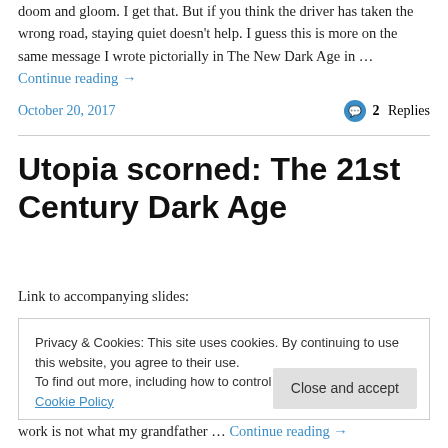doom and gloom. I get that. But if you think the driver has taken the wrong road, staying quiet doesn't help. I guess this is more on the same message I wrote pictorially in The New Dark Age in … Continue reading →
October 20, 2017   2 Replies
Utopia scorned: The 21st Century Dark Age
Link to accompanying slides:
Privacy & Cookies: This site uses cookies. By continuing to use this website, you agree to their use. To find out more, including how to control cookies, see here: Cookie Policy
Close and accept
work is not what my grandfather … Continue reading →